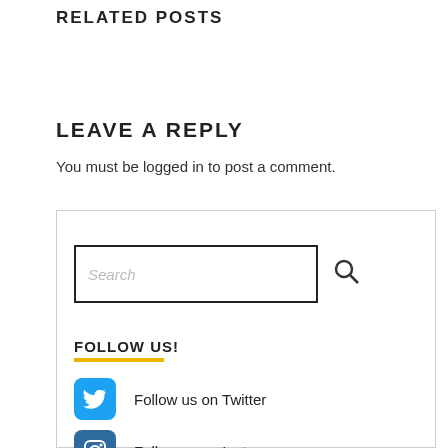RELATED POSTS
LEAVE A REPLY
You must be logged in to post a comment.
[Figure (screenshot): Sidebar widget containing a search box with placeholder text 'Search' and a magnifying glass icon, a 'FOLLOW US!' heading with yellow underline, a Twitter follow button with bird icon and text 'Follow us on Twitter', and an Instagram follow button with camera icon and text 'Follow us on Instagram'.]